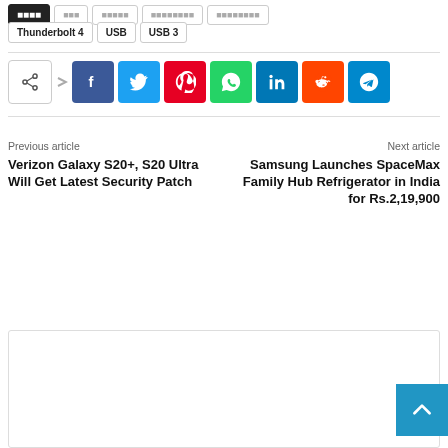Thunderbolt 4
USB
USB 3
[Figure (other): Social share buttons row: share icon, Facebook, Twitter, Pinterest, WhatsApp, LinkedIn, Reddit, Telegram]
Previous article
Verizon Galaxy S20+, S20 Ultra Will Get Latest Security Patch
Next article
Samsung Launches SpaceMax Family Hub Refrigerator in India for Rs.2,19,900